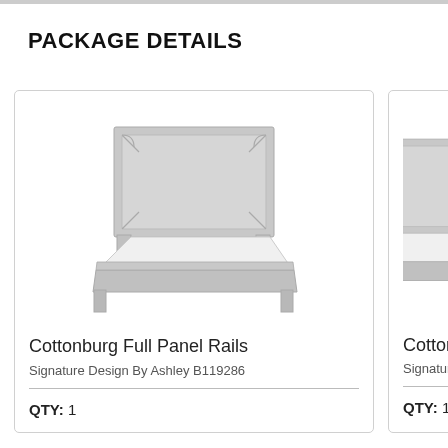PACKAGE DETAILS
[Figure (photo): Photo of Cottonburg Full Panel Bed with gray/white finish, showing headboard, footboard and rails on white background]
Cottonburg Full Panel Rails
Signature Design By Ashley B119286
QTY: 1
[Figure (photo): Partial photo of Cottonburg panel headboard/bed component, gray finish, cropped at card edge]
Cotton
Signature D
QTY: 1